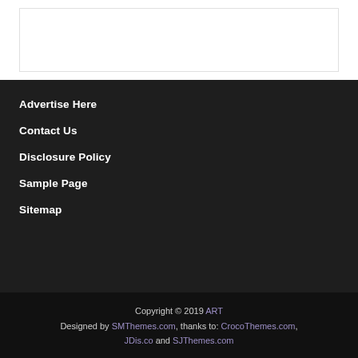[Figure (other): White content area box at top of page]
Advertise Here
Contact Us
Disclosure Policy
Sample Page
Sitemap
Copyright © 2019 ART
Designed by SMThemes.com, thanks to: CrocoThemes.com, JDis.co and SJThemes.com